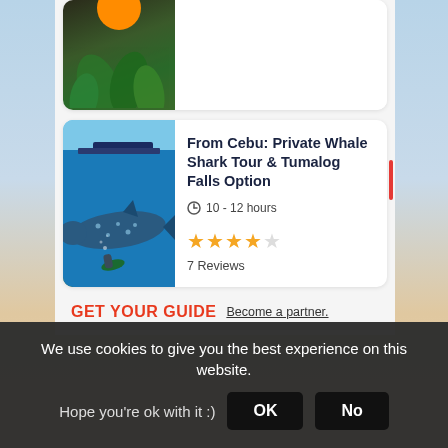[Figure (screenshot): Partially visible top tour listing card with an image showing tropical foliage and an orange circle at top]
From Cebu: Private Whale Shark Tour & Tumalog Falls Option
10 - 12 hours
★★★★☆ 7 Reviews
[Figure (photo): Underwater photo showing a whale shark and a diver with green fins, with a boat visible at the surface]
GET YOUR GUIDE  Become a partner.
We use cookies to give you the best experience on this website. Hope you're ok with it :)